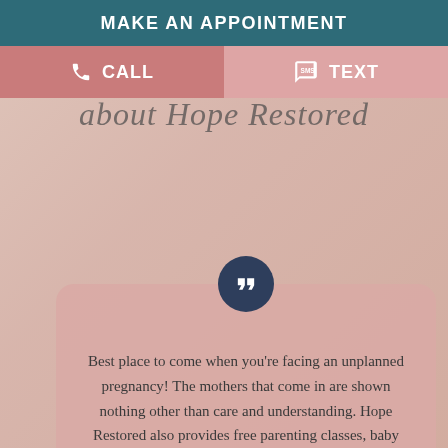MAKE AN APPOINTMENT
CALL
TEXT
about Hope Restored
Best place to come when you're facing an unplanned pregnancy! The mothers that come in are shown nothing other than care and understanding. Hope Restored also provides free parenting classes, baby clothes, maternity clothes, baby supplies, and even pregnancy test. The staff is a true blessing to their clients. 10/10 recommended!!
Saady Dubois